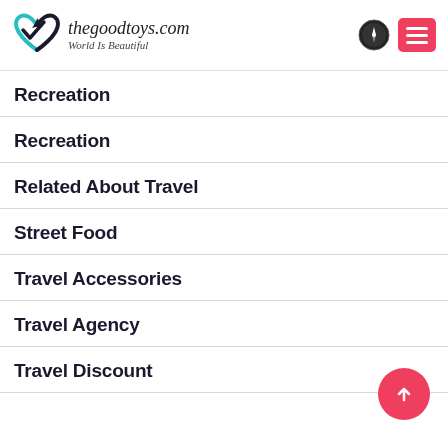thegoodtoys.com — World Is Beautiful
Recreation
Recreation
Related About Travel
Street Food
Travel Accessories
Travel Agency
Travel Discount